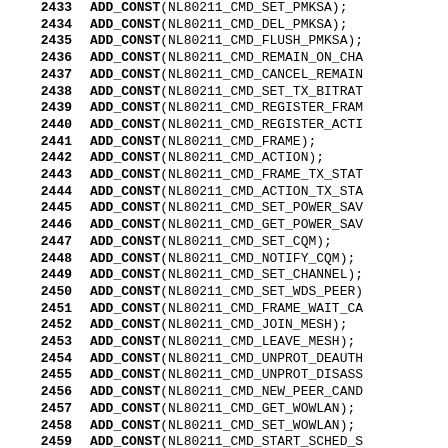2433 ADD_CONST(NL80211_CMD_SET_PMKSA);
2434 ADD_CONST(NL80211_CMD_DEL_PMKSA);
2435 ADD_CONST(NL80211_CMD_FLUSH_PMKSA);
2436 ADD_CONST(NL80211_CMD_REMAIN_ON_CHA...
2437 ADD_CONST(NL80211_CMD_CANCEL_REMAIN...
2438 ADD_CONST(NL80211_CMD_SET_TX_BITRAT...
2439 ADD_CONST(NL80211_CMD_REGISTER_FRAM...
2440 ADD_CONST(NL80211_CMD_REGISTER_ACTI...
2441 ADD_CONST(NL80211_CMD_FRAME);
2442 ADD_CONST(NL80211_CMD_ACTION);
2443 ADD_CONST(NL80211_CMD_FRAME_TX_STAT...
2444 ADD_CONST(NL80211_CMD_ACTION_TX_STA...
2445 ADD_CONST(NL80211_CMD_SET_POWER_SAV...
2446 ADD_CONST(NL80211_CMD_GET_POWER_SAV...
2447 ADD_CONST(NL80211_CMD_SET_CQM);
2448 ADD_CONST(NL80211_CMD_NOTIFY_CQM);
2449 ADD_CONST(NL80211_CMD_SET_CHANNEL);
2450 ADD_CONST(NL80211_CMD_SET_WDS_PEER)...
2451 ADD_CONST(NL80211_CMD_FRAME_WAIT_CA...
2452 ADD_CONST(NL80211_CMD_JOIN_MESH);
2453 ADD_CONST(NL80211_CMD_LEAVE_MESH);
2454 ADD_CONST(NL80211_CMD_UNPROT_DEAUTH...
2455 ADD_CONST(NL80211_CMD_UNPROT_DISASS...
2456 ADD_CONST(NL80211_CMD_NEW_PEER_CAND...
2457 ADD_CONST(NL80211_CMD_GET_WOWLAN);
2458 ADD_CONST(NL80211_CMD_SET_WOWLAN);
2459 ADD_CONST(NL80211_CMD_START_SCHED_S...
2460 ADD_CONST(NL80211_CMD_STOP_SCHED_SC...
2461 ADD_CONST(NL80211_CMD_SCHED_SCAN_RE...
2462 ADD_CONST(NL80211_CMD_SCHED_SCAN_ST...
2463 ADD_CONST(NL80211_CMD_GET_PFKEY_PFO...